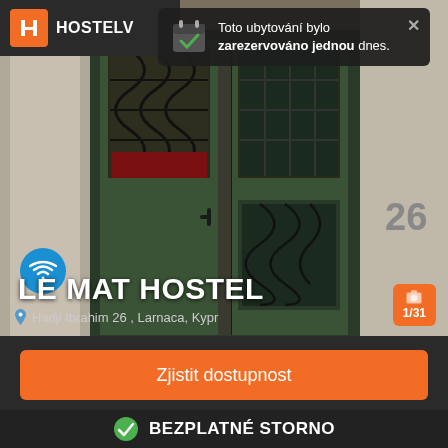[Figure (screenshot): Hostelworld app screenshot showing Le Mat Hostel in Larnaca, Cyprus. Background photo of ornate green wooden doors with iron grillwork on a stone building with number 26.]
Toto ubytování bylo zarezovováno jednou dnes.
LE MAT HOSTEL
Hadji Ibrahim 26 , Larnaca, Kypr
1/31
Zjistit dostupnost
BEZPLATNÉ STORNO